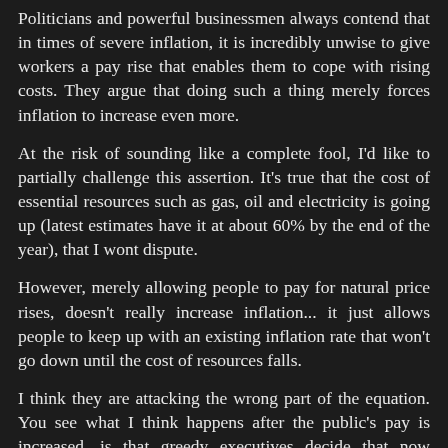Politicians and powerful businessmen always contend that in times of severe inflation, it is incredibly unwise to give workers a pay rise that enables them to cope with rising costs. They argue that doing such a thing merely forces inflation to increase even more.
At the risk of sounding like a complete fool, I'd like to partially challenge this assertion. It's true that the cost of essential resources such as gas, oil and electricity is going up (latest estimates have it at about 60% by the end of the year), that I wont dispute.
However, merely allowing people to pay for natural price rises, doesn't really increase inflation... it just allows people to keep up with an existing inflation rate that won't go down until the cost of resources falls.
I think they are attacking the wrong part of the equation. You see what I think happens after the public's pay is increased, is that greedy executives decide that now people have more money... they can push them even harder in the hope of improving their profit margin.
Simply put, in a relatively stable economy, sky-rocketing inflation is largely caused by irridly greedy executives.